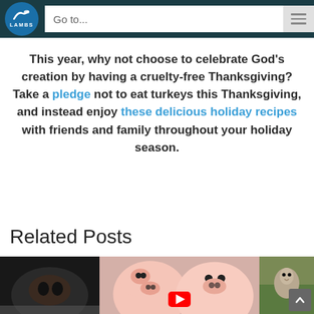LAMBS — Go to... navigation bar
This year, why not choose to celebrate God's creation by having a cruelty-free Thanksgiving? Take a pledge not to eat turkeys this Thanksgiving, and instead enjoy these delicious holiday recipes with friends and family throughout your holiday season.
Related Posts
[Figure (photo): Three related post thumbnail images in a row: left shows a dark close-up (animal face), center shows two pink piglets with a YouTube play button overlay, right shows a bird or animal in green surroundings.]